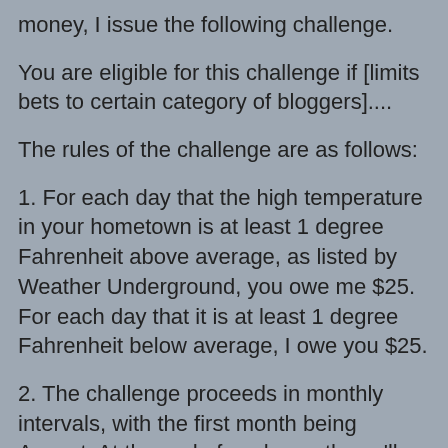money, I issue the following challenge.
You are eligible for this challenge if [limits bets to certain category of bloggers]....
The rules of the challenge are as follows:
1. For each day that the high temperature in your hometown is at least 1 degree Fahrenheit above average, as listed by Weather Underground, you owe me $25. For each day that it is at least 1 degree Fahrenheit below average, I owe you $25.
2. The challenge proceeds in monthly intervals, with the first month being August. At the end of each month, we'll tally up the winning and losing days and the loser writes the winner a check for the balance.
3. The challenge automatically rolls over to the next month until/unless: (i) one party informs the